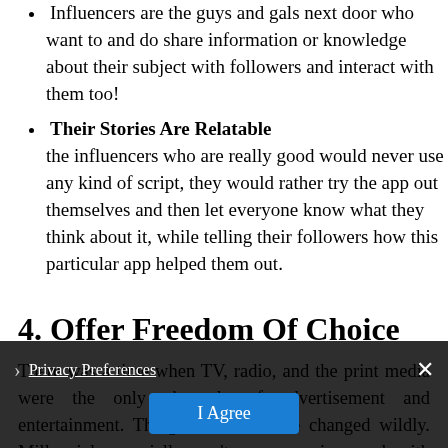Their Stories Are Relatable the influencers who are really good would never use any kind of script, they would rather try the app out themselves and then let everyone know what they think about it, while telling their followers how this particular app helped them out.
4. Offer Freedom Of Choice
There was a time when TV, radio, and the print media were the only channels of advertisement and entertainment. Things however have changed wildly. Millennials especially aren't even engaging much with the television even and by the cord. Consumers today decide what they want to see and when they want to see it. When you are promoting your app through influencers, you are effectively